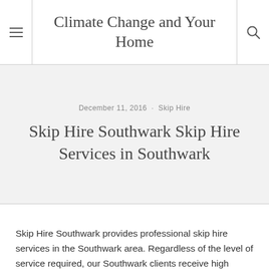Climate Change and Your Home
December 11, 2016 · Skip Hire
Skip Hire Southwark Skip Hire Services in Southwark
Skip Hire Southwark provides professional skip hire services in the Southwark area. Regardless of the level of service required, our Southwark clients receive high quality skip hire service. Our services are available to all clients- residential and industrial.